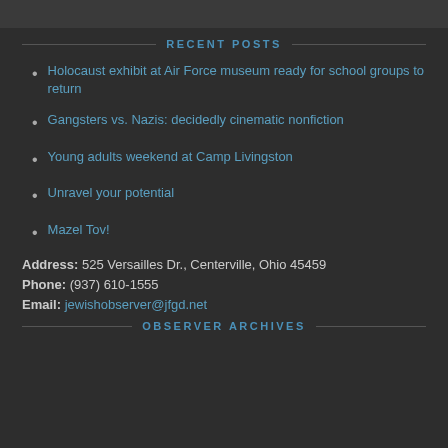RECENT POSTS
Holocaust exhibit at Air Force museum ready for school groups to return
Gangsters vs. Nazis: decidedly cinematic nonfiction
Young adults weekend at Camp Livingston
Unravel your potential
Mazel Tov!
Address: 525 Versailles Dr., Centerville, Ohio 45459
Phone: (937) 610-1555
Email: jewishobserver@jfgd.net
OBSERVER ARCHIVES